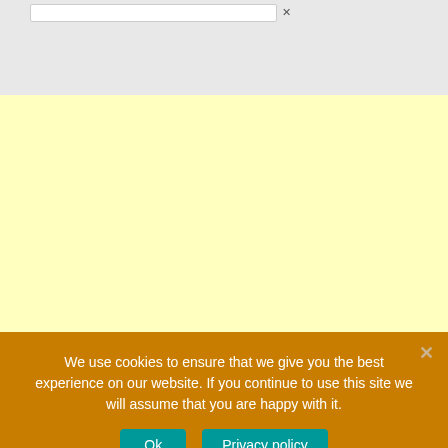[Figure (screenshot): Top portion showing a light gray background with a white input/search bar and a small close/X button on the right side of the bar.]
[Figure (screenshot): Large light yellow (cream) area representing an advertisement or content placeholder area.]
We use cookies to ensure that we give you the best experience on our website. If you continue to use this site we will assume that you are happy with it.
Ok
Privacy policy